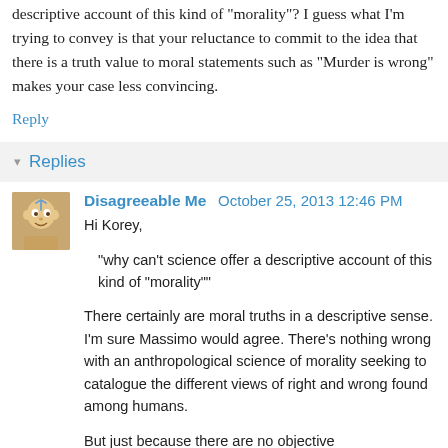descriptive account of this kind of "morality"? I guess what I'm trying to convey is that your reluctance to commit to the idea that there is a truth value to moral statements such as "Murder is wrong" makes your case less convincing.
Reply
Replies
Disagreeable Me  October 25, 2013 12:46 PM
Hi Korey,

"why can't science offer a descriptive account of this kind of "morality""

There certainly are moral truths in a descriptive sense. I'm sure Massimo would agree. There's nothing wrong with an anthropological science of morality seeking to catalogue the different views of right and wrong found among humans.

But just because there are no objective